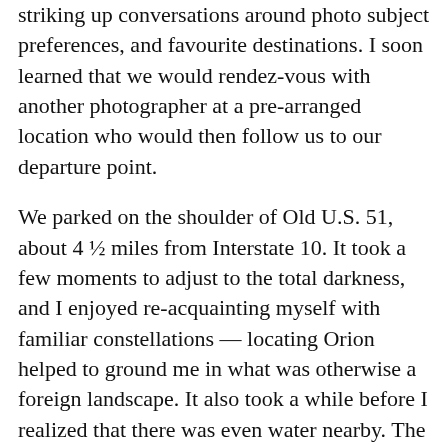striking up conversations around photo subject preferences, and favourite destinations. I soon learned that we would rendez-vous with another photographer at a pre-arranged location who would then follow us to our departure point.
We parked on the shoulder of Old U.S. 51, about 4 ½ miles from Interstate 10. It took a few moments to adjust to the total darkness, and I enjoyed re-acquainting myself with familiar constellations — locating Orion helped to ground me in what was otherwise a foreign landscape. It also took a while before I realized that there was even water nearby. The crisp nighttime air and light fog felt refreshing, and I quickly forgot about the environment I left behind near Bourbon Street.